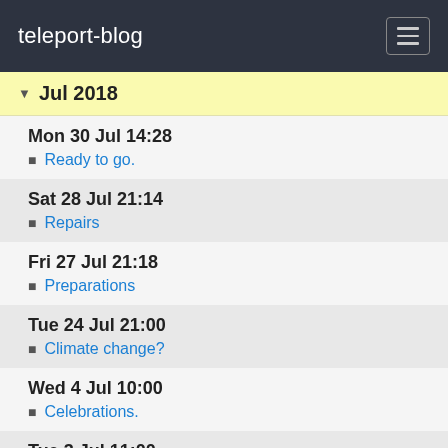teleport-blog
Jul 2018
Mon 30 Jul 14:28
Ready to go.
Sat 28 Jul 21:14
Repairs
Fri 27 Jul 21:18
Preparations
Tue 24 Jul 21:00
Climate change?
Wed 4 Jul 10:00
Celebrations.
Tue 3 Jul 11:00
Morehead Beaufort Yacht Club
Mon 2 Jul 09:10
What a welcome!